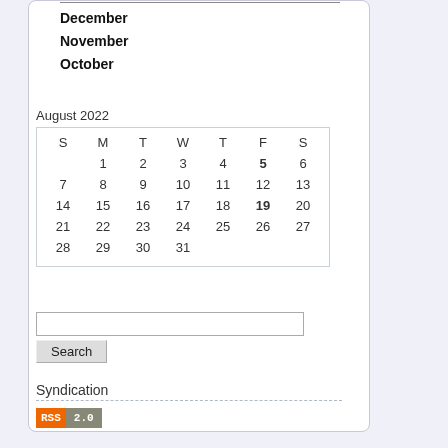December
November
October
| S | M | T | W | T | F | S |
| --- | --- | --- | --- | --- | --- | --- |
|  | 1 | 2 | 3 | 4 | 5 | 6 |
| 7 | 8 | 9 | 10 | 11 | 12 | 13 |
| 14 | 15 | 16 | 17 | 18 | 19 | 20 |
| 21 | 22 | 23 | 24 | 25 | 26 | 27 |
| 28 | 29 | 30 | 31 |  |  |  |
Search
Syndication
[Figure (other): RSS 2.0 badge]